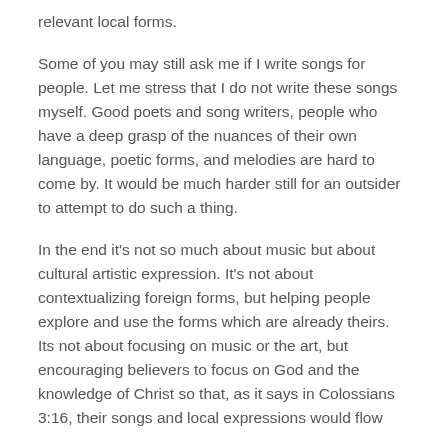relevant local forms.
Some of you may still ask me if I write songs for people. Let me stress that I do not write these songs myself. Good poets and song writers, people who have a deep grasp of the nuances of their own language, poetic forms, and melodies are hard to come by. It would be much harder still for an outsider to attempt to do such a thing.
In the end it's not so much about music but about cultural artistic expression. It's not about contextualizing foreign forms, but helping people explore and use the forms which are already theirs. Its not about focusing on music or the art, but encouraging believers to focus on God and the knowledge of Christ so that, as it says in Colossians 3:16, their songs and local expressions would flow